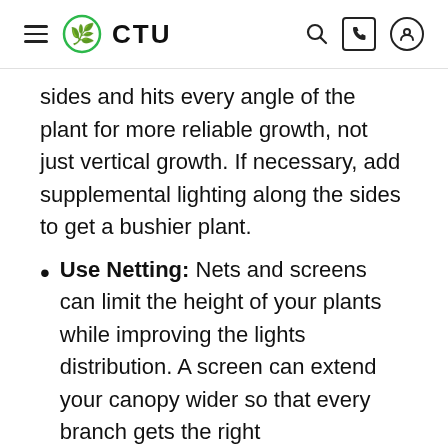CTU
sides and hits every angle of the plant for more reliable growth, not just vertical growth. If necessary, add supplemental lighting along the sides to get a bushier plant.
Use Netting: Nets and screens can limit the height of your plants while improving the lights distribution. A screen can extend your canopy wider so that every branch gets the right